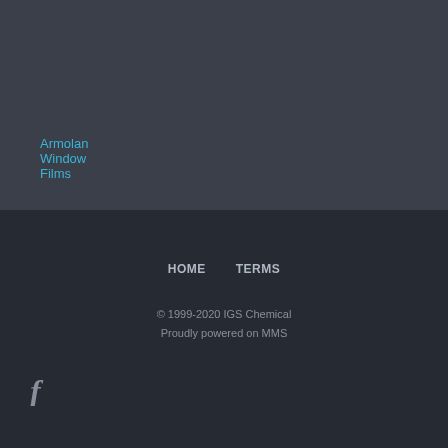Armolan Window Films
HOME   TERMS
© 1999-2020 IGS Chemical
Proudly powered on MMS
[Figure (logo): Facebook 'f' icon in grey]